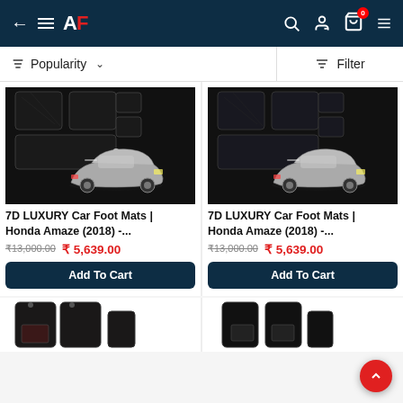AF - AutoFurnish app navigation bar with back arrow, hamburger menu, AF logo, search, profile, and cart (0 items)
Popularity ▾  Filter
[Figure (photo): 7D Luxury car foot mats with Honda Amaze car image, left product card]
7D LUXURY Car Foot Mats | Honda Amaze (2018) -...
₹13,000.00  ₹ 5,639.00
Add To Cart
[Figure (photo): 7D Luxury car foot mats with Honda Amaze car image, right product card]
7D LUXURY Car Foot Mats | Honda Amaze (2018) -...
₹13,000.00  ₹ 5,639.00
Add To Cart
[Figure (photo): Partial bottom-left product card showing dark car floor mat]
[Figure (photo): Partial bottom-right product card showing dark car floor mat]